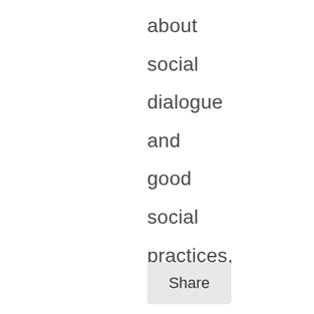about social dialogue and good social practices, can be found on the following websites: www.sugardialogue.e
Share